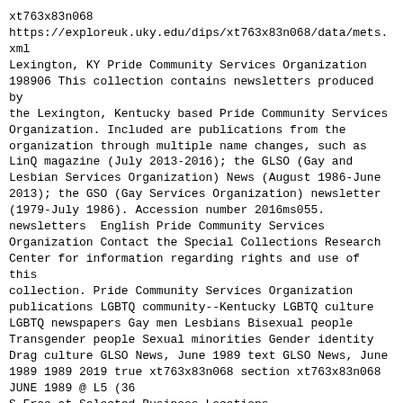xt763x83n068
https://exploreuk.uky.edu/dips/xt763x83n068/data/mets.xml
Lexington, KY Pride Community Services Organization
198906 This collection contains newsletters produced by
the Lexington, Kentucky based Pride Community Services
Organization. Included are publications from the
organization through multiple name changes, such as
LinQ magazine (July 2013-2016); the GLSO (Gay and
Lesbian Services Organization) News (August 1986-June
2013); the GSO (Gay Services Organization) newsletter
(1979-July 1986). Accession number 2016ms055.
newsletters  English Pride Community Services
Organization Contact the Special Collections Research
Center for information regarding rights and use of this
collection. Pride Community Services Organization
publications LGBTQ community--Kentucky LGBTQ culture
LGBTQ newspapers Gay men Lesbians Bisexual people
Transgender people Sexual minorities Gender identity
Drag culture GLSO News, June 1989 text GLSO News, June
1989 1989 2019 true xt763x83n068 section xt763x83n068
JUNE 1989 @ L5 (36
S Free at Selected Business Locations
Home Delivery at $5 per year
LEXINGTON GAY/LESBIAN SERVICES ORGANIZATION, P.O. BOX
111171, LEXINGTON, KY 110575
_ GAY PRIDE '89 IN LEXINGTON

Lexington's plans for Gay Pride '89, coinciding with
the twentieth anniversary of the
Stonewall Riots which mark the beginning of the modern